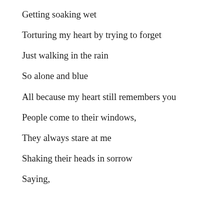Getting soaking wet
Torturing my heart by trying to forget
Just walking in the rain
So alone and blue
All because my heart still remembers you
People come to their windows,
They always stare at me
Shaking their heads in sorrow
Saying,